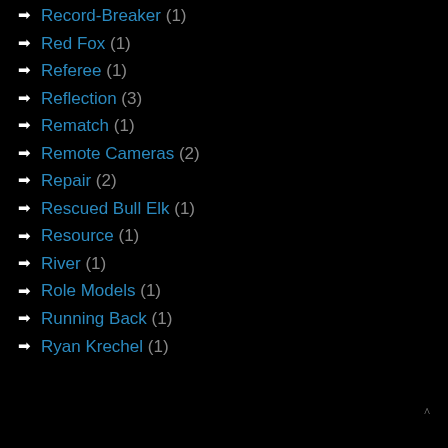Record-Breaker (1)
Red Fox (1)
Referee (1)
Reflection (3)
Rematch (1)
Remote Cameras (2)
Repair (2)
Rescued Bull Elk (1)
Resource (1)
River (1)
Role Models (1)
Running Back (1)
Ryan Krechel (1)